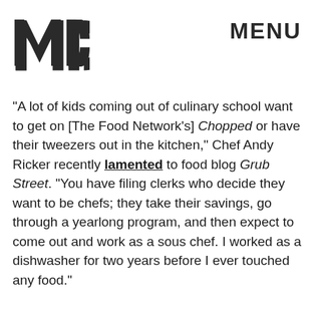MIC   MENU
"A lot of kids coming out of culinary school want to get on [The Food Network's] Chopped or have their tweezers out in the kitchen," Chef Andy Ricker recently lamented to food blog Grub Street. "You have filing clerks who decide they want to be chefs; they take their savings, go through a yearlong program, and then expect to come out and work as a sous chef. I worked as a dishwasher for two years before I ever touched any food."
Jennifer Minniti, the chair of the Fashion Design Department at Pratt Institute, seems to agree that